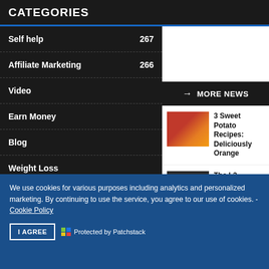CATEGORIES
Self help 267
Affiliate Marketing 266
Video
Earn Money
Blog
Weight Loss
Health & Fitne…
MORE NEWS
3 Sweet Potato Recipes: Deliciously Orange
[Figure (photo): Sweet potato dish with egg, food photography]
The L2 Fitness Summit Volume 1
[Figure (screenshot): L2 Fitness Summit Volume 1 product image]
We use cookies for various purposes including analytics and personalized marketing. By continuing to use the service, you agree to our use of cookies. - Cookie Policy
I AGREE   Protected by Patchstack